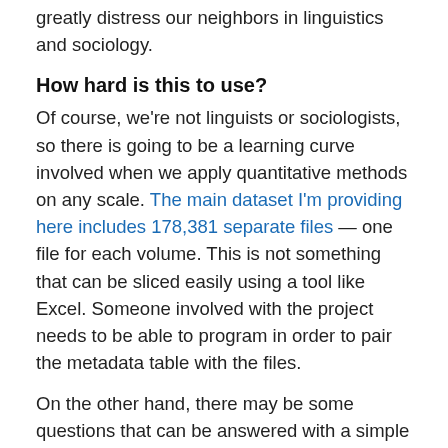greatly distress our neighbors in linguistics and sociology.
How hard is this to use?
Of course, we're not linguists or sociologists, so there is going to be a learning curve involved when we apply quantitative methods on any scale. The main dataset I'm providing here includes 178,381 separate files — one file for each volume. This is not something that can be sliced easily using a tool like Excel. Someone involved with the project needs to be able to program in order to pair the metadata table with the files.
On the other hand, there may be some questions that can be answered with a simple yearly summary, so I've also provided yearly_summary tables for each genre that aggregate term frequencies for the 10,000 most common tokens in each genre (selected by document frequency). This is the gentlest on-ramp to the dataset: data in this